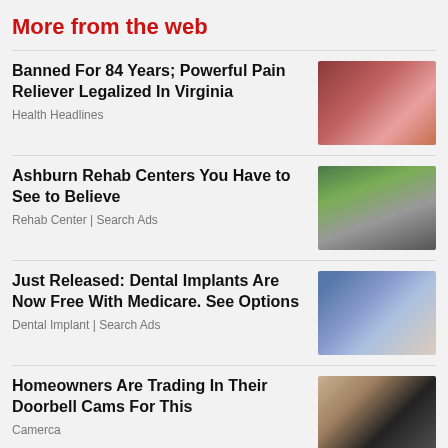More from the web
Banned For 84 Years; Powerful Pain Reliever Legalized In Virginia
Health Headlines
Ashburn Rehab Centers You Have to See to Believe
Rehab Center | Search Ads
Just Released: Dental Implants Are Now Free With Medicare. See Options
Dental Implant | Search Ads
Homeowners Are Trading In Their Doorbell Cams For This
Camerca